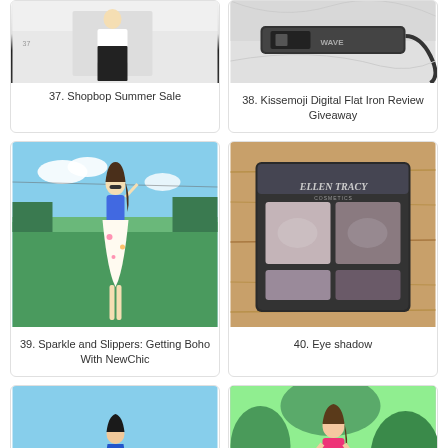[Figure (photo): Fashion photo for Shopbop Summer Sale - person in dark pants and white top]
37. Shopbop Summer Sale
[Figure (photo): Kissemoji Digital Flat Iron hair styling tool on marble surface]
38. Kissemoji Digital Flat Iron Review Giveaway
[Figure (photo): Woman in floral dress and sunglasses standing in grassy field with blue sky]
39. Sparkle and Slippers: Getting Boho With NewChic
[Figure (photo): Ellen Tracy eye shadow palette on wooden surface]
40. Eye shadow
[Figure (photo): Woman in blue and green saree standing near cars in parking lot]
[Figure (photo): Woman in pink top and floral skirt standing outdoors in green garden]